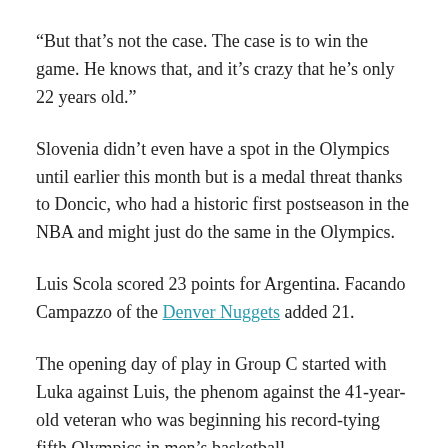“But that’s not the case. The case is to win the game. He knows that, and it’s crazy that he’s only 22 years old.”
Slovenia didn’t even have a spot in the Olympics until earlier this month but is a medal threat thanks to Doncic, who had a historic first postseason in the NBA and might just do the same in the Olympics.
Luis Scola scored 23 points for Argentina. Facando Campazzo of the Denver Nuggets added 21.
The opening day of play in Group C started with Luka against Luis, the phenom against the 41-year-old veteran who was beginning his record-tying fifth Olympics in men’s basketball.